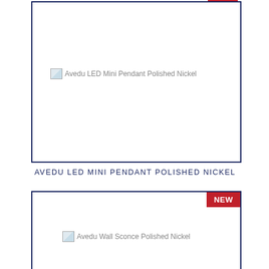[Figure (photo): Product card with blue border for Avedu LED Mini Pendant Polished Nickel, shown with broken image icon and alt text]
AVEDU LED MINI PENDANT POLISHED NICKEL
[Figure (photo): Product card with blue border and NEW badge (red) for Avedu Wall Sconce Polished Nickel, shown with broken image icon and alt text]